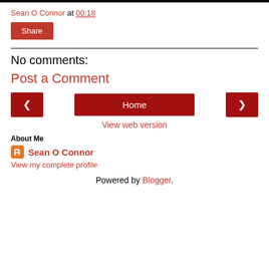[Figure (other): Black horizontal bar at top of page]
Sean O Connor at 00:18
Share
No comments:
Post a Comment
< Home >
View web version
About Me
Sean O Connor
View my complete profile
Powered by Blogger.